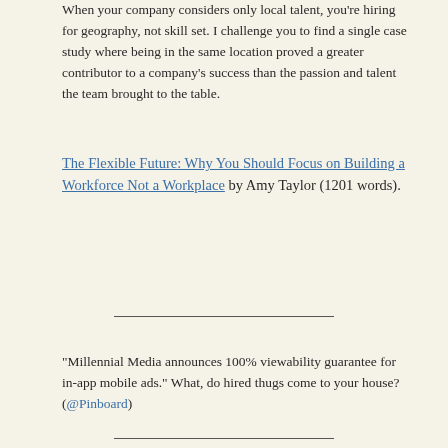When your company considers only local talent, you're hiring for geography, not skill set. I challenge you to find a single case study where being in the same location proved a greater contributor to a company's success than the passion and talent the team brought to the table.
The Flexible Future: Why You Should Focus on Building a Workforce Not a Workplace by Amy Taylor (1201 words).
"Millennial Media announces 100% viewability guarantee for in-app mobile ads." What, do hired thugs come to your house? (@Pinboard)